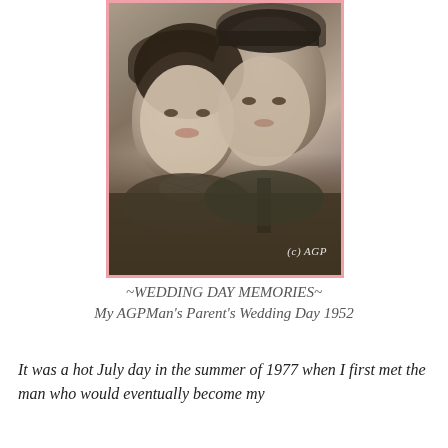[Figure (photo): Vintage black-and-white wedding portrait of a couple from 1952. A woman with curly dark hair and a patterned bow or scarf is on the left, and a man in a military uniform and cap is on the right. The photo has a pink border and a watermark reading (c) AGP in the lower right corner.]
~WEDDING DAY MEMORIES~ My AGPMan's Parent's Wedding Day 1952
It was a hot July day in the summer of 1977 when I first met the man who would eventually become my